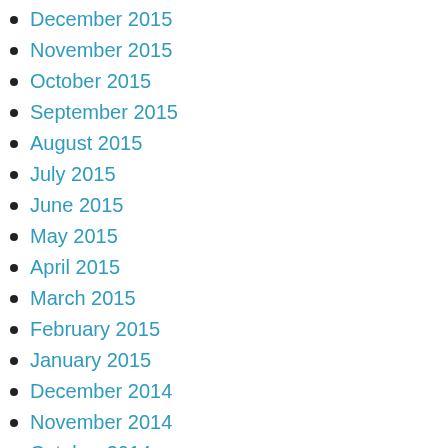December 2015
November 2015
October 2015
September 2015
August 2015
July 2015
June 2015
May 2015
April 2015
March 2015
February 2015
January 2015
December 2014
November 2014
October 2014
September 2014
August 2014
July 2014